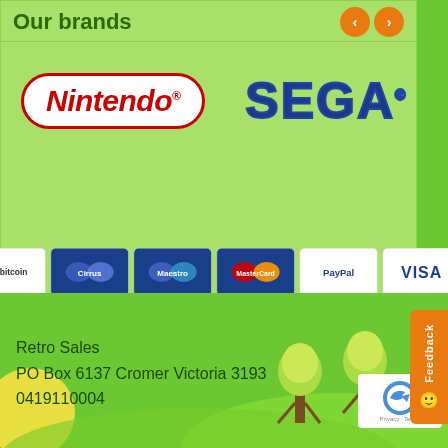Our brands
[Figure (logo): Nintendo logo — red rounded rectangle border with italic red Nintendo text and registered trademark symbol]
[Figure (logo): SEGA logo — bold dark blue SEGA text with registered trademark symbol]
[Figure (infographic): Payment method icons: Bitcoin, Cirrus, Maestro, MasterCard, PayPal, VISA]
Retro Sales
PO Box 6137 Cromer Victoria 3193
0419110004
[Figure (illustration): Green outdoor scenery with trees and sun illustration]
[Figure (other): reCAPTCHA badge with Privacy and Terms text]